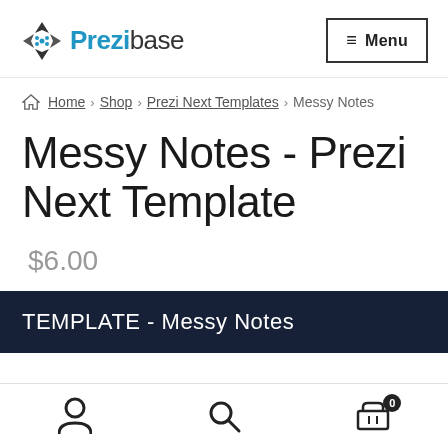[Figure (logo): Prezibase logo with geometric icon and stylized text]
Home › Shop › Prezi Next Templates › Messy Notes
Messy Notes - Prezi Next Template
$6.00
TEMPLATE - Messy Notes
[Figure (screenshot): Bottom navigation bar with user, search, and cart icons]